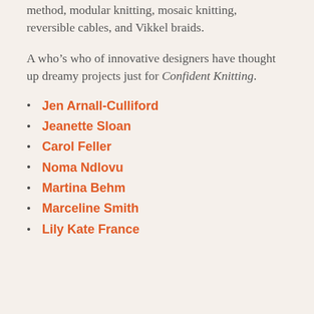method, modular knitting, mosaic knitting, reversible cables, and Vikkel braids.
A who’s who of innovative designers have thought up dreamy projects just for Confident Knitting.
Jen Arnall-Culliford
Jeanette Sloan
Carol Feller
Noma Ndlovu
Martina Behm
Marceline Smith
Lily Kate France